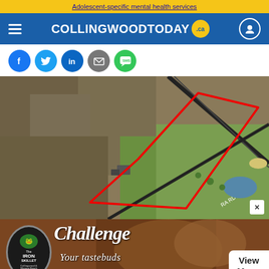Adolescent-specific mental health services
[Figure (logo): CollingwoodToday.ca navigation bar with hamburger menu, logo, and user account icon]
[Figure (infographic): Social sharing icons: Facebook, Twitter, LinkedIn, Email, SMS]
[Figure (map): Aerial satellite map showing a triangular red-outlined property boundary near a road and golf course]
[Figure (photo): Iron Skillet restaurant advertisement: Challenge Your tastebuds - View Menu]